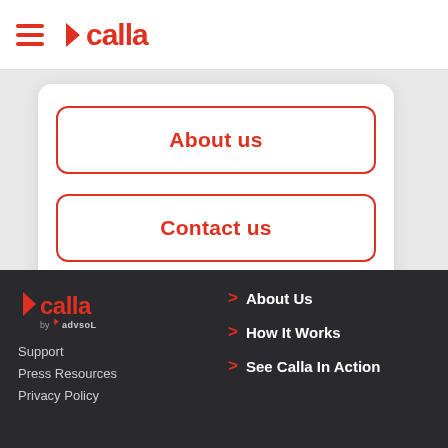calla (navigation header with hamburger menu and logo)
About us
Contact us
[Figure (logo): Calla logo with chevron arrow and wordmark in dark footer, with 'by' subtitle brand]
Support
Press Resources
Privacy Policy
About Us
How It Works
See Calla In Action